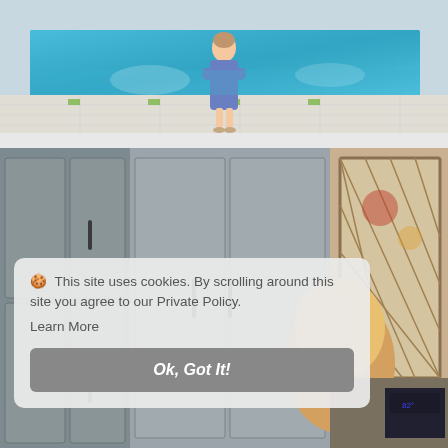[Figure (photo): Woman in purple dress standing in front of a swimming pool on a white tile patio with green grass accents]
[Figure (photo): Interior kitchen scene with gray cabinets and person with blonde hair, stained glass window visible on the right]
🍪 This site uses cookies. By scrolling around this site you agree to our Private Policy. Learn More
Ok, Got It!